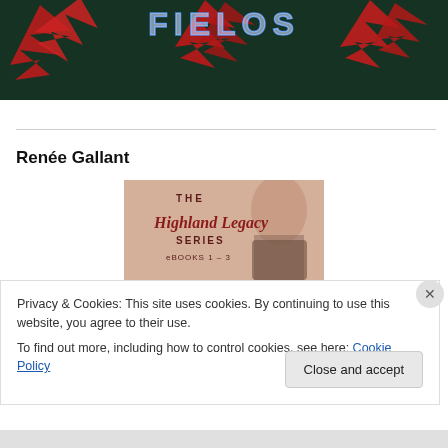[Figure (photo): Banner image with red autumn maple leaves against a dark green background, with stylized glowing text overlay (appears to be a blog or website header)]
Renée Gallant
[Figure (photo): Book cover image for 'The Highland Legacy Series eBOOKS 1-3' showing a woman's face in profile with a warm pinkish-tan background and dark red script lettering]
Privacy & Cookies: This site uses cookies. By continuing to use this website, you agree to their use.
To find out more, including how to control cookies, see here: Cookie Policy